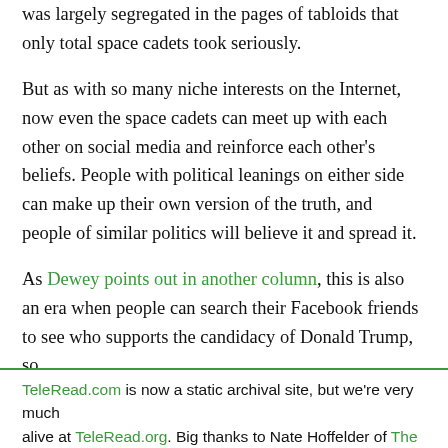was largely segregated in the pages of tabloids that only total space cadets took seriously.
But as with so many niche interests on the Internet, now even the space cadets can meet up with each other on social media and reinforce each other's beliefs. People with political leanings on either side can make up their own version of the truth, and people of similar politics will believe it and spread it.
As Dewey points out in another column, this is also an era when people can search their Facebook friends to see who supports the candidacy of Donald Trump, so
TeleRead.com is now a static archival site, but we're very much alive at TeleRead.org. Big thanks to Nate Hoffelder of The Digital